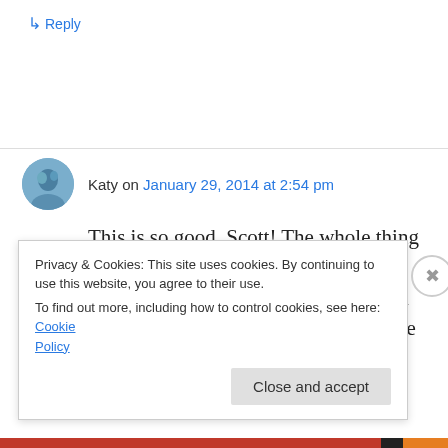↳ Reply
Katy on January 29, 2014 at 2:54 pm
This is so good, Scott! The whole thing is fun to read and what a good point about BG-saying people saying Blood Sugar and inside-out-vice-versa for the BS people. Things that make you
Privacy & Cookies: This site uses cookies. By continuing to use this website, you agree to their use.
To find out more, including how to control cookies, see here: Cookie Policy
Close and accept